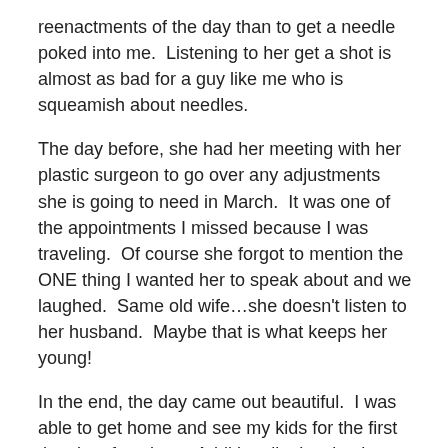reenactments of the day than to get a needle poked into me.  Listening to her get a shot is almost as bad for a guy like me who is squeamish about needles.
The day before, she had her meeting with her plastic surgeon to go over any adjustments she is going to need in March.  It was one of the appointments I missed because I was traveling.  Of course she forgot to mention the ONE thing I wanted her to speak about and we laughed.  Same old wife...she doesn't listen to her husband.  Maybe that is what keeps her young!
In the end, the day came out beautiful.  I was able to get home and see my kids for the first time in a few days.  Additionally despite the very mundane conversation I had a chance to spend some time with my cherry blossom in my life.